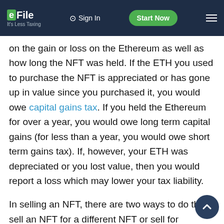eFile It's Less Taxing | Sign In | Start Now
on the gain or loss on the Ethereum as well as how long the NFT was held. If the ETH you used to purchase the NFT is appreciated or has gone up in value since you purchased it, you would owe capital gains tax. If you held the Ethereum for over a year, you would owe long term capital gains (for less than a year, you would owe short term gains tax). If, however, your ETH was depreciated or you lost value, then you would report a loss which may lower your tax liability.
In selling an NFT, there are two ways to do this: sell an NFT for a different NFT or sell for cryptocurrency. When you trade one NFT for another, this transaction is treated as a capital gain or loss as well. This is determined by